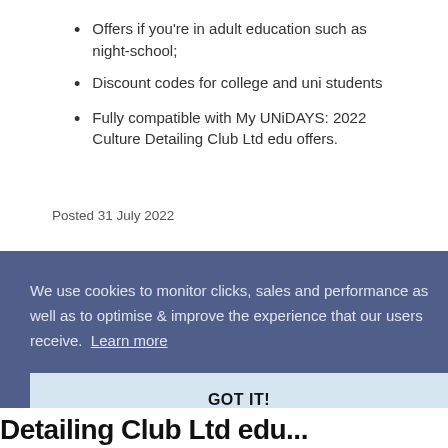Offers if you're in adult education such as night-school;
Discount codes for college and uni students
Fully compatible with My UNiDAYS: 2022 Culture Detailing Club Ltd edu offers.
Posted 31 July 2022
We use cookies to monitor clicks, sales and performance as well as to optimise & improve the experience that our users receive. Learn more
GOT IT!
Detailing Club Ltd edu...